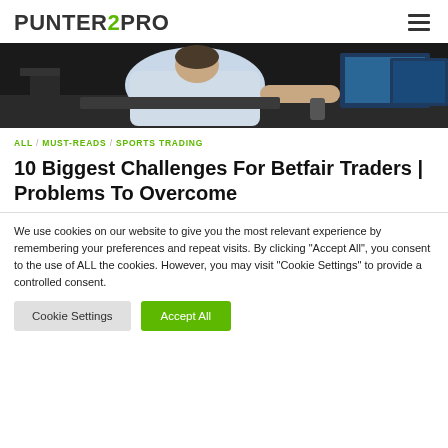PUNTER2PRO
[Figure (photo): Person sitting at trading desk with multiple monitors, viewed from behind, wearing a white shirt]
ALL / MUST-READS / SPORTS TRADING
10 Biggest Challenges For Betfair Traders | Problems To Overcome
We use cookies on our website to give you the most relevant experience by remembering your preferences and repeat visits. By clicking "Accept All", you consent to the use of ALL the cookies. However, you may visit "Cookie Settings" to provide a controlled consent.
Cookie Settings | Accept All